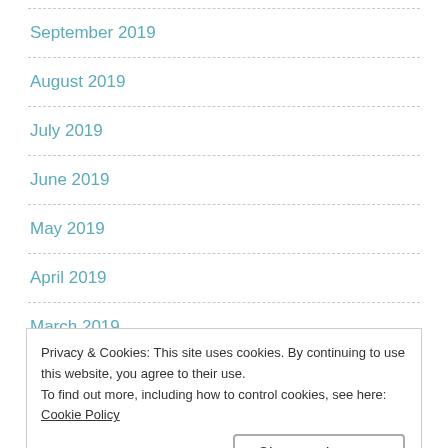September 2019
August 2019
July 2019
June 2019
May 2019
April 2019
March 2019
Privacy & Cookies: This site uses cookies. By continuing to use this website, you agree to their use.
To find out more, including how to control cookies, see here: Cookie Policy
December 2018